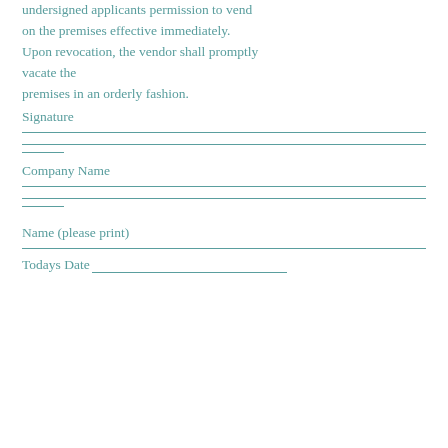undersigned applicants permission to vend on the premises effective immediately. Upon revocation, the vendor shall promptly vacate the premises in an orderly fashion.
Signature
Company Name
Name (please print)
Todays Date___________________________